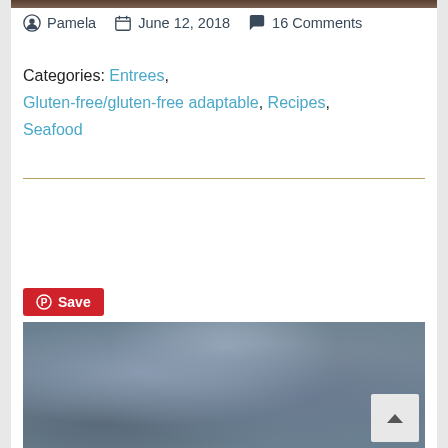[Figure (photo): Top portion of a food photo (partially visible at top of page)]
Pamela   June 12, 2018   16 Comments
Categories: Entrees, Gluten-free/gluten-free adaptable, Recipes, Seafood
[Figure (other): Pinterest Save button]
[Figure (photo): Blurry dark blue-grey food photograph at bottom of page]